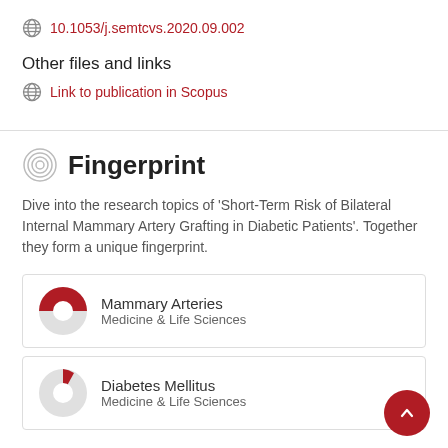10.1053/j.semtcvs.2020.09.002
Other files and links
Link to publication in Scopus
Fingerprint
Dive into the research topics of 'Short-Term Risk of Bilateral Internal Mammary Artery Grafting in Diabetic Patients'. Together they form a unique fingerprint.
Mammary Arteries
Medicine & Life Sciences
Diabetes Mellitus
Medicine & Life Sciences